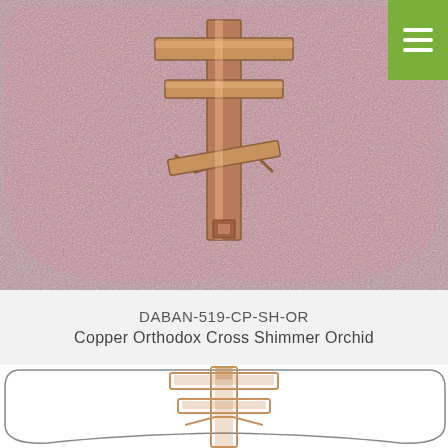[Figure (photo): Top view photo of a casket panel with pinkish-orchid shimmer texture and a copper Orthodox cross mounted in the center. A green hamburger menu icon is in the upper right corner.]
DABAN-519-CP-SH-OR
Copper Orthodox Cross Shimmer Orchid
[Figure (illustration): Bottom line-art illustration of the same casket panel shape with a copper Orthodox cross design, shown as an outline/schematic view, partially cropped at bottom.]